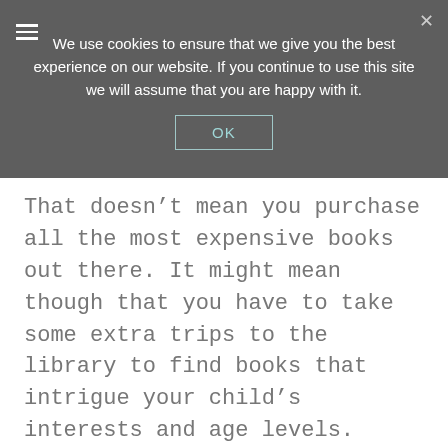We use cookies to ensure that we give you the best experience on our website. If you continue to use this site we will assume that you are happy with it.
OK
That doesn’t mean you purchase all the most expensive books out there. It might mean though that you have to take some extra trips to the library to find books that intrigue your child’s interests and age levels.